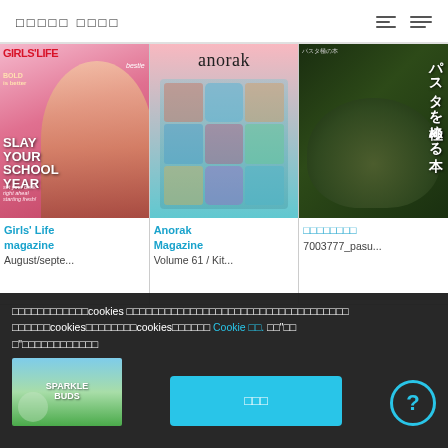□□□□□ □□□□
[Figure (photo): Girls' Life magazine cover - Fall Fashion issue with model, text SLAY YOUR SCHOOL YEAR]
[Figure (photo): Anorak Magazine cover - colorful illustration with robots and characters, Volume 61]
[Figure (photo): Japanese pasta cookbook cover - green pasta dish on dark background, title in Japanese characters]
Girls' Life magazine
August/septe...
Anorak Magazine
Volume 61 / Kit...
□□□□□□□□
7003777_pasu...
□□□□□□□□□□□□cookies □□□□□□□□□□□□□□□□□□□□□□□□□□□□□□□□□□□□cookies□□□□□□□□cookies□□□□□□ Cookie □□. □□"□□"□□□□□□□□□□□□
□□□